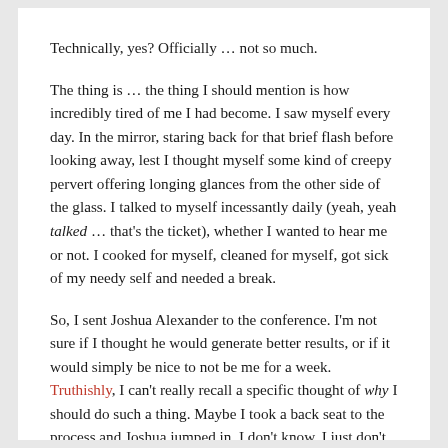Technically, yes? Officially … not so much.
The thing is … the thing I should mention is how incredibly tired of me I had become. I saw myself every day. In the mirror, staring back for that brief flash before looking away, lest I thought myself some kind of creepy pervert offering longing glances from the other side of the glass. I talked to myself incessantly daily (yeah, yeah talked … that's the ticket), whether I wanted to hear me or not. I cooked for myself, cleaned for myself, got sick of my needy self and needed a break.
So, I sent Joshua Alexander to the conference. I'm not sure if I thought he would generate better results, or if it would simply be nice to not be me for a week. Truthishly, I can't really recall a specific thought of why I should do such a thing. Maybe I took a back seat to the process and Joshua jumped in. I don't know. I just don't know. I'm just weird like that, I suppose.